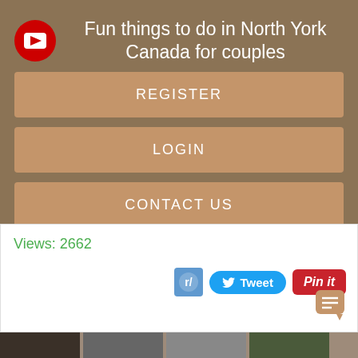Fun things to do in North York Canada for couples
REGISTER
LOGIN
CONTACT US
Views: 2662
[Figure (screenshot): Social sharing buttons: Reddit icon, Tweet button, Pin it button, and a chat/comment icon]